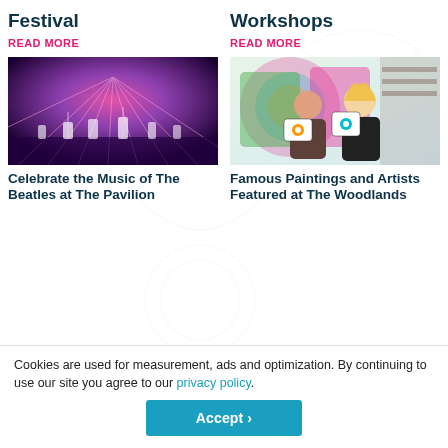Festival
Workshops
READ MORE
READ MORE
[Figure (photo): Concert photo: band performing on a stage with colorful pink/purple lighting and rays of light behind them]
[Figure (photo): Two women smiling and holding colorful painted folk-art style skull panels in an art studio/gallery setting]
Celebrate the Music of The Beatles at The Pavilion
Famous Paintings and Artists Featured at The Woodlands
Cookies are used for measurement, ads and optimization. By continuing to use our site you agree to our privacy policy.
Accept ›